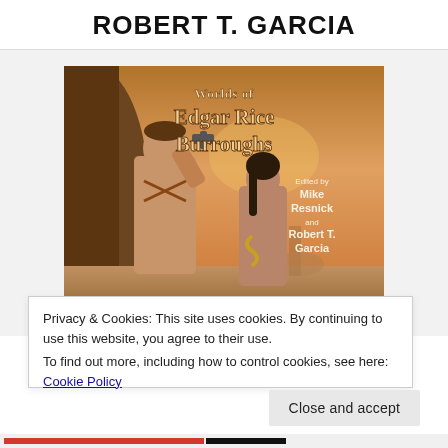ROBERT T. GARCIA
[Figure (illustration): Book cover of 'Worlds of Edgar Rice Burroughs' edited by Mike Resnick and Robert T. Garcia, showing two warriors in a desert/cave setting, one holding a pistol.]
Privacy & Cookies: This site uses cookies. By continuing to use this website, you agree to their use.
To find out more, including how to control cookies, see here: Cookie Policy
Close and accept